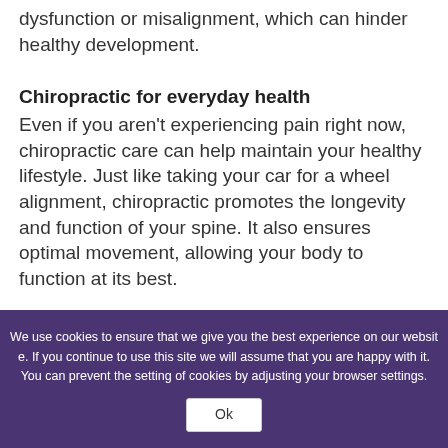dysfunction or misalignment, which can hinder healthy development.
Chiropractic for everyday health
Even if you aren't experiencing pain right now, chiropractic care can help maintain your healthy lifestyle. Just like taking your car for a wheel alignment, chiropractic promotes the longevity and function of your spine. It also ensures optimal movement, allowing your body to function at its best.
We use cookies to ensure that we give you the best experience on our website. If you continue to use this site we will assume that you are happy with it. You can prevent the setting of cookies by adjusting your browser settings.